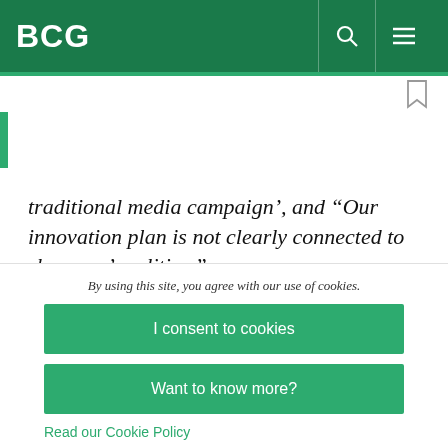BCG
traditional media campaign’, and “Our innovation plan is not clearly connected to shoppers’ realities.”
At many companies, the root of the problem is a basic disconnect among marketing, sales, and digital teams. The marketing team typically focuses
By using this site, you agree with our use of cookies.
I consent to cookies
Want to know more?
Read our Cookie Policy